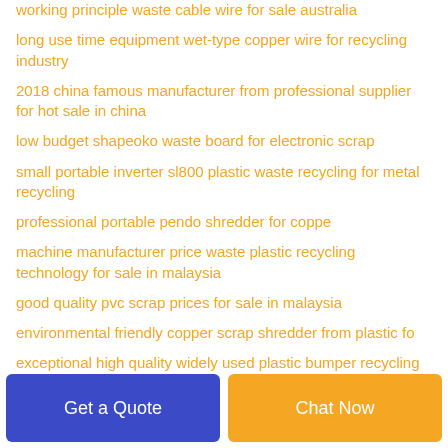working principle waste cable wire for sale australia
long use time equipment wet-type copper wire for recycling industry
2018 china famous manufacturer from professional supplier for hot sale in china
low budget shapeoko waste board for electronic scrap
small portable inverter sl800 plastic waste recycling for metal recycling
professional portable pendo shredder for coppe
machine manufacturer price waste plastic recycling technology for sale in malaysia
good quality pvc scrap prices for sale in malaysia
environmental friendly copper scrap shredder from plastic fo
exceptional high quality widely used plastic bumper recycling for
Get a Quote
Chat Now